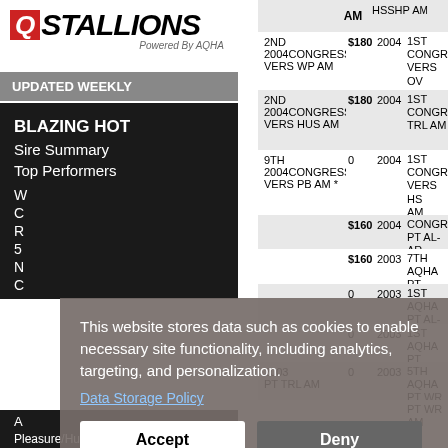[Figure (logo): QStallions logo - red Q box with STALLIONS text, Powered By AQHA subtitle]
UPDATED WEEKLY
BLAZING HOT
Sire Summary
Top Performers
This website stores data such as cookies to enable necessary site functionality, including analytics, targeting, and personalization.
Data Storage Policy
Accept
Deny
| Place/Event | Amount | Year | Notes |
| --- | --- | --- | --- |
| AM |  |  | HSSHP AM |
| 2ND 2004CONGRESS VERS WP AM | $180 | 2004 | 1ST CONGRE VERS OV AM |
| 2ND 2004CONGRESS VERS HUS AM | $180 | 2004 | 1ST CONGRE TRL AM |
| 9TH 2004CONGRESS VERS PB AM * | 0 | 2004 | 1ST CONGRE VERS HS AM |
|  | $160 | 2004 | CONGRE PT AL-AR |
|  | $160 | 2003 | 7TH AQHA PT HUS AM |
|  | 0 | 2003 | 1ST AQHA PT AL-AR HRS AM |
|  | 0 | 2003 | 1ST AQHA PT HSSH |
| 2003 PT TRL AM | 0 | 2003 | 5TH AQHA PT WR AM |
Pleasure/Hunt Seat